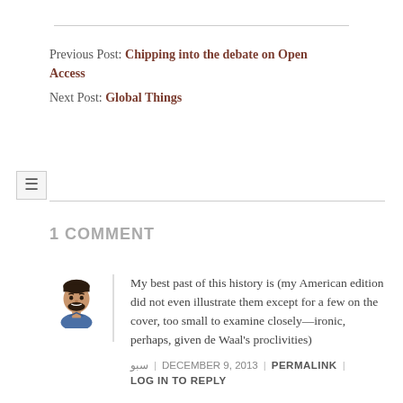Previous Post: Chipping into the debate on Open Access
Next Post: Global Things
1 COMMENT
My best past of this history is (my American edition did not even illustrate them except for a few on the cover, too small to examine closely—ironic, perhaps, given de Waal's proclivities)
سبو | DECEMBER 9, 2013 | PERMALINK | LOG IN TO REPLY